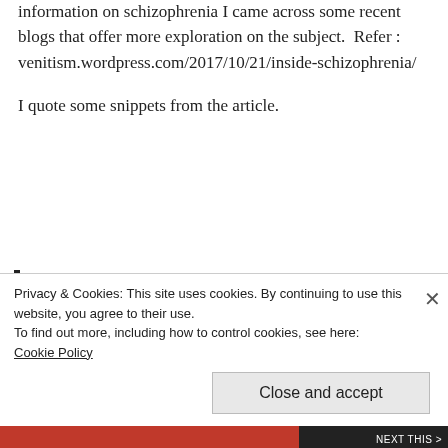information on schizophrenia I came across some recent blogs that offer more exploration on the subject.  Refer : venitism.wordpress.com/2017/10/21/inside-schizophrenia/
I quote some snippets from the article.
“Wiring is frayed in more than just one region, according to a new international study – the largest
Privacy & Cookies: This site uses cookies. By continuing to use this website, you agree to their use.
To find out more, including how to control cookies, see here:
Cookie Policy
Close and accept